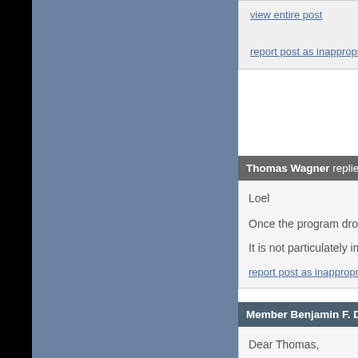view entire post
report post as inappropriate
Thomas Wagner replied on Sep. 20, 2...
Loel
Once the program dropped m...
It is not particulately important...
report post as inappropriate
Member Benjamin F. Dribus wrote on Sep. ...
Dear Thomas,
I don't know if you have considered... besides myself who would be int...